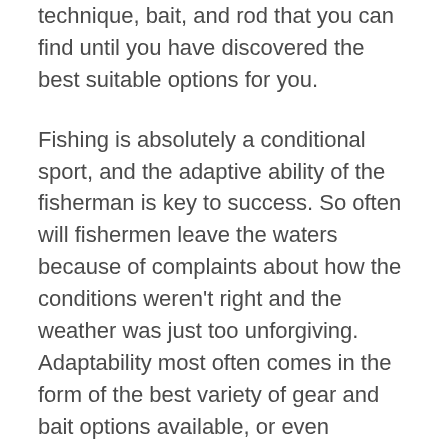technique, bait, and rod that you can find until you have discovered the best suitable options for you.
Fishing is absolutely a conditional sport, and the adaptive ability of the fisherman is key to success. So often will fishermen leave the waters because of complaints about how the conditions weren't right and the weather was just too unforgiving. Adaptability most often comes in the form of the best variety of gear and bait options available, or even switching techniques may be the answer to a dry catching period. For absolute beginners,